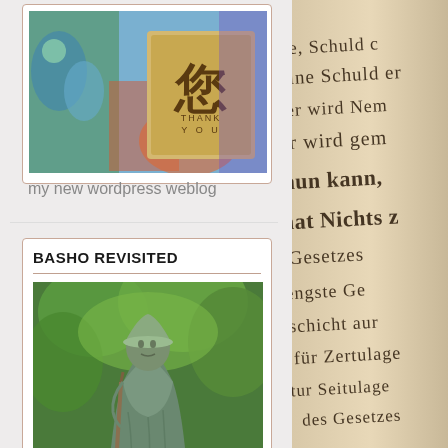[Figure (photo): A rubber stamp with Japanese/Chinese character and 'THANK YOU' text on a colorful background]
my new wordpress weblog
BASHO REVISITED
[Figure (photo): Bronze statue of Matsuo Basho, Japanese poet, standing among green foliage]
CELEBRATING HAIKU BY BASHO
[Figure (photo): Close-up of old German Gothic script text in a book, blurred background]